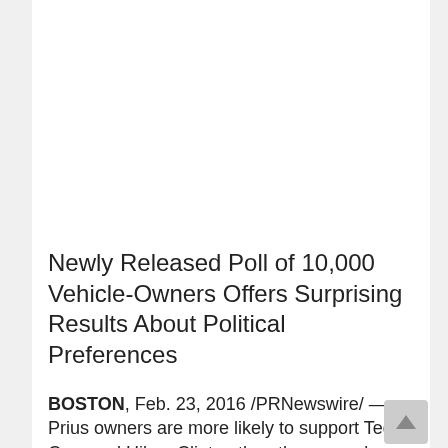Newly Released Poll of 10,000 Vehicle-Owners Offers Surprising Results About Political Preferences
BOSTON, Feb. 23, 2016 /PRNewswire/ — Prius owners are more likely to support Ted Cruz and Hilary Clinton than the general